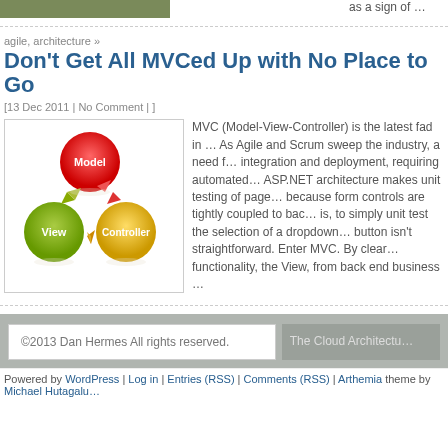as a sign of …
agile, architecture »
Don't Get All MVCed Up with No Place to Go
[13 Dec 2011 | No Comment | ]
[Figure (illustration): MVC diagram with Model (red circle), View (green circle), Controller (yellow circle) connected by arrows]
MVC (Model-View-Controller) is the latest fad in … As Agile and Scrum sweep the industry, a need for… integration and deployment, requiring automated… ASP.NET architecture makes unit testing of page… because form controls are tightly coupled to bac… is, to simply unit test the selection of a dropdown… button isn't straightforward. Enter MVC. By clear… functionality, the View, from back end business …
©2013 Dan Hermes All rights reserved.
The Cloud Architectu…
Powered by WordPress | Log in | Entries (RSS) | Comments (RSS) | Arthemia theme by Michael Hutagalu…